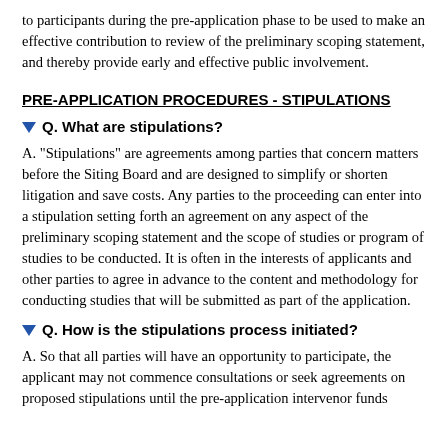to participants during the pre-application phase to be used to make an effective contribution to review of the preliminary scoping statement, and thereby provide early and effective public involvement.
PRE-APPLICATION PROCEDURES - STIPULATIONS
Q. What are stipulations?
A. "Stipulations" are agreements among parties that concern matters before the Siting Board and are designed to simplify or shorten litigation and save costs. Any parties to the proceeding can enter into a stipulation setting forth an agreement on any aspect of the preliminary scoping statement and the scope of studies or program of studies to be conducted. It is often in the interests of applicants and other parties to agree in advance to the content and methodology for conducting studies that will be submitted as part of the application.
Q. How is the stipulations process initiated?
A. So that all parties will have an opportunity to participate, the applicant may not commence consultations or seek agreements on proposed stipulations until the pre-application intervenor funds